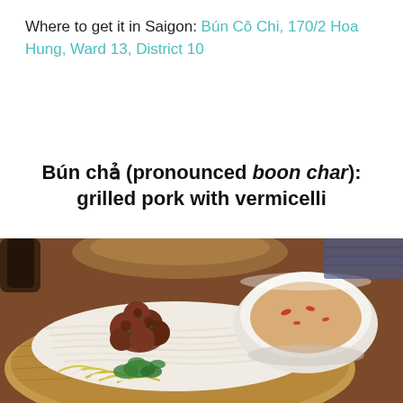Where to get it in Saigon: Bún Cô Chi, 170/2 Hoa Hung, Ward 13, District 10
Bún chả (pronounced boon char): grilled pork with vermicelli
[Figure (photo): A close-up photo of bún chả: grilled pork meatballs on a bed of white rice vermicelli noodles in a woven bamboo basket, accompanied by a white ceramic bowl of dipping broth with chili, and garnished with fresh herbs and bean sprouts.]